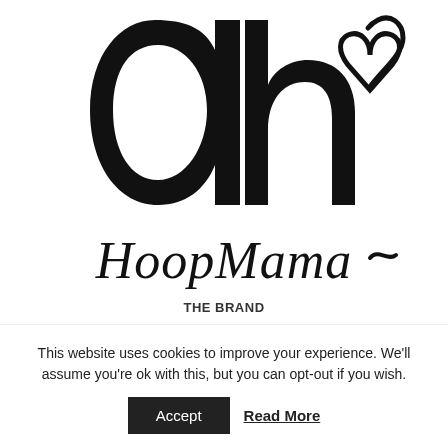[Figure (logo): Oh HoopMama handwritten logo with large stylized 'Oh' letters and a heart, followed by 'HoopMama' in script font, all in black.]
THE BRAND
About
Affiliate Program
Affiliate Dashboard
THE TERMS
Terms Of Use
This website uses cookies to improve your experience. We'll assume you're ok with this, but you can opt-out if you wish.
Accept
Read More